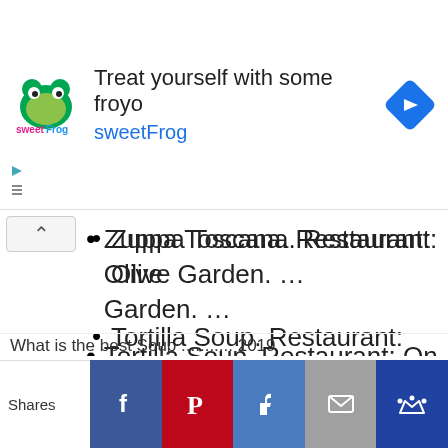[Figure (infographic): SweetFrog advertisement banner with logo, headline 'Treat yourself with some froyo', subtext 'sweetFrog', and a blue navigation diamond icon on the right.]
Zuppa Toscana. Restaurant: Olive Garden. …
Tortilla Soup. Restaurant: On the Border. …
Gloria's Latin Cuisine's Chicken Soup. Restaurant: Gloria's Latin Cuisine. …
Baked Potato Soup.
[Figure (infographic): Social sharing bar at the bottom with Shares label and buttons for Facebook, Pinterest, Like (thumbs up), Email, and Crown icon.]